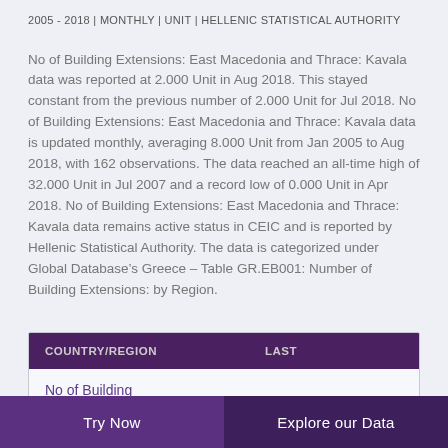2005 - 2018 | MONTHLY | UNIT | HELLENIC STATISTICAL AUTHORITY
No of Building Extensions: East Macedonia and Thrace: Kavala data was reported at 2.000 Unit in Aug 2018. This stayed constant from the previous number of 2.000 Unit for Jul 2018. No of Building Extensions: East Macedonia and Thrace: Kavala data is updated monthly, averaging 8.000 Unit from Jan 2005 to Aug 2018, with 162 observations. The data reached an all-time high of 32.000 Unit in Jul 2007 and a record low of 0.000 Unit in Apr 2018. No of Building Extensions: East Macedonia and Thrace: Kavala data remains active status in CEIC and is reported by Hellenic Statistical Authority. The data is categorized under Global Database’s Greece – Table GR.EB001: Number of Building Extensions: by Region.
| COUNTRY/REGION | LAST |
| --- | --- |
| No of Building |  |
Try Now  Explore our Data